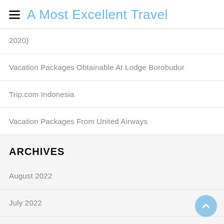A Most Excellent Travel
2020)
Vacation Packages Obtainable At Lodge Borobudur
Trip.com Indonesia
Vacation Packages From United Airways
ARCHIVES
August 2022
July 2022
June 2022